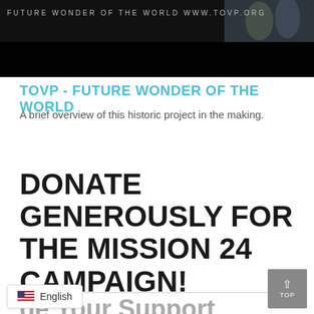[Figure (photo): Banner image with text 'FUTURE WONDER OF THE WORLD WWW.TOVP.ORG' on dark background with decorative figures]
TOVP - FUTURE WONDER OF THE WORLD
A brief overview of this historic project in the making.
DONATE GENEROUSLY FOR THE MISSION 24 CAMPAIGN!
ge Your Support